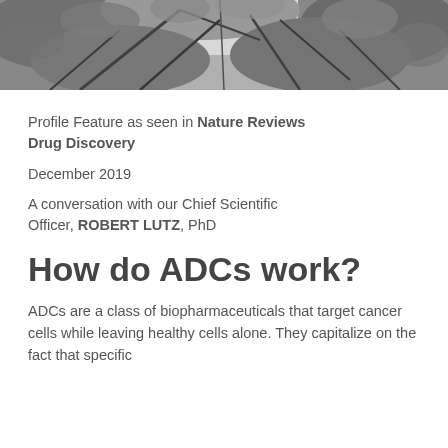[Figure (photo): Black and white photograph of tree canopy viewed from below, showing branches and leaves against sky]
Profile Feature as seen in Nature Reviews Drug Discovery
December 2019
A conversation with our Chief Scientific Officer, ROBERT LUTZ, PhD
How do ADCs work?
ADCs are a class of biopharmaceuticals that target cancer cells while leaving healthy cells alone. They capitalize on the fact that specific